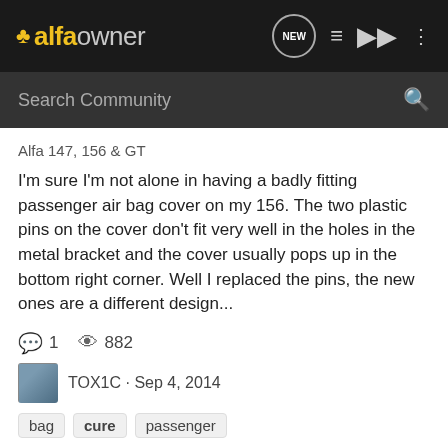alfaowner
Search Community
Alfa 147, 156 & GT
I'm sure I'm not alone in having a badly fitting passenger air bag cover on my 156. The two plastic pins on the cover don't fit very well in the holes in the metal bracket and the cover usually pops up in the bottom right corner. Well I replaced the pins, the new ones are a different design...
1   882
TOX1C · Sep 4, 2014
bag   cure   passenger
definitive cure for bushes.
Alfa 147, 156 & GT